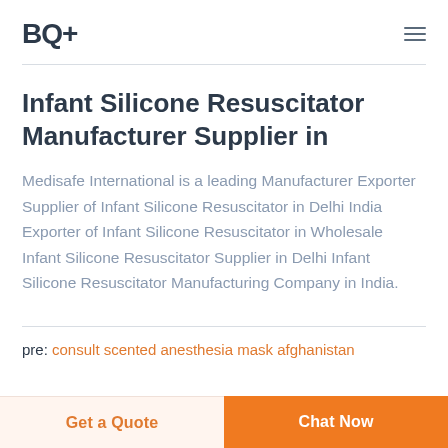BQ+
Infant Silicone Resuscitator Manufacturer Supplier in
Medisafe International is a leading Manufacturer Exporter Supplier of Infant Silicone Resuscitator in Delhi India Exporter of Infant Silicone Resuscitator in Wholesale Infant Silicone Resuscitator Supplier in Delhi Infant Silicone Resuscitator Manufacturing Company in India.
pre: consult scented anesthesia mask afghanistan